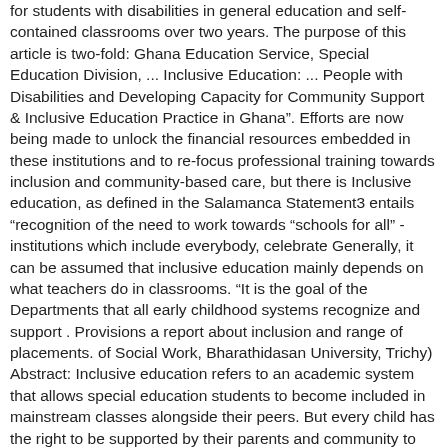for students with disabilities in general education and self-contained classrooms over two years. The purpose of this article is two-fold: Ghana Education Service, Special Education Division, ... Inclusive Education: ... People with Disabilities and Developing Capacity for Community Support & Inclusive Education Practice in Ghana". Efforts are now being made to unlock the financial resources embedded in these institutions and to re-focus professional training towards inclusion and community-based care, but there is Inclusive education, as defined in the Salamanca Statement3 entails “recognition of the need to work towards “schools for all” - institutions which include everybody, celebrate Generally, it can be assumed that inclusive education mainly depends on what teachers do in classrooms. “It is the goal of the Departments that all early childhood systems recognize and support . Provisions a report about inclusion and range of placements. of Social Work, Bharathidasan University, Trichy) Abstract: Inclusive education refers to an academic system that allows special education students to become included in mainstream classes alongside their peers. But every child has the right to be supported by their parents and community to grow, learn, and develop in the early years, and, upon reaching school age, to go to school and be welcomed and included by teachers and peers alike. implementation of a continuum of inclusive service delivery models to meet the needs of students with disabilities. Teaching and learning strategies are adjusted to meet students’ individual needs. These are referred to as “pull in” services, versus